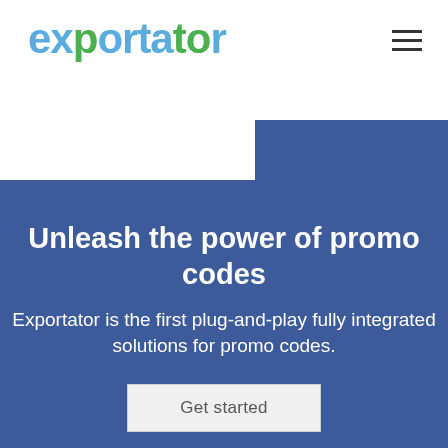exportator
Unleash the power of promo codes
Exportator is the first plug-and-play fully integrated solutions for promo codes.
Get started